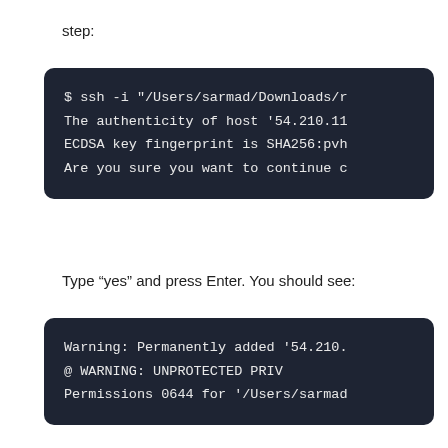step:
[Figure (screenshot): Dark terminal code block showing SSH command and host authenticity prompts]
Type “yes” and press Enter. You should see:
[Figure (screenshot): Dark terminal code block showing Warning: Permanently added, WARNING: UNPROTECTED PRIVATE KEY FILE, and Permissions 0644 messages]